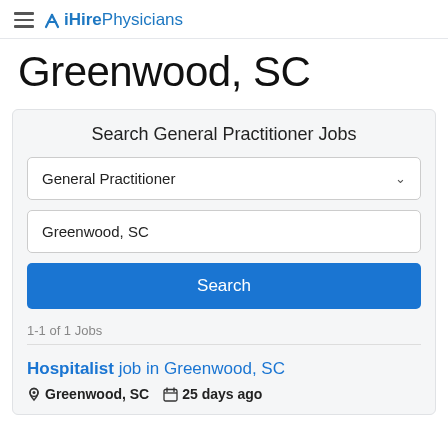iHirePhysicians
Greenwood, SC
Search General Practitioner Jobs
General Practitioner
Greenwood, SC
Search
1-1 of 1 Jobs
Hospitalist job in Greenwood, SC
Greenwood, SC   25 days ago